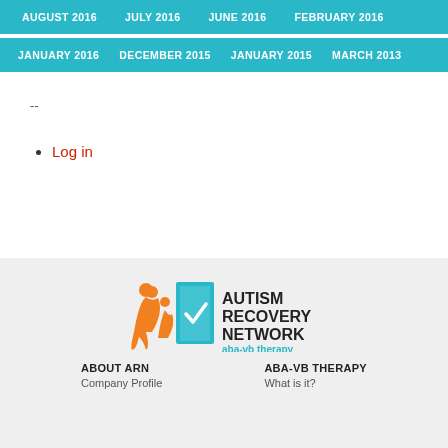AUGUST 2016  JULY 2016  JUNE 2016  FEBRUARY 2016
JANUARY 2016  DECEMBER 2015  JANUARY 2015  MARCH 2013
--
Log in
[Figure (logo): Autism Recovery Network aba-vb therapy logo with orange figures and teal door graphic]
ABOUT ARN
Company Profile
ABA-VB THERAPY
What is it?